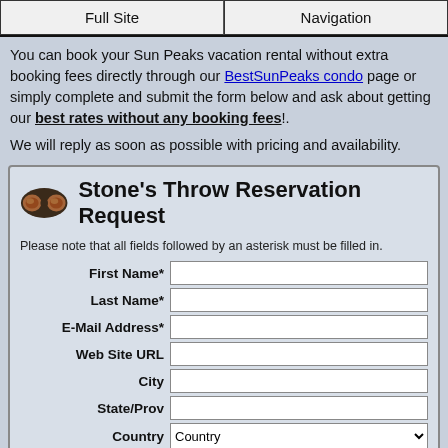Full Site | Navigation
You can book your Sun Peaks vacation rental without extra booking fees directly through our BestSunPeaks condo page or simply complete and submit the form below and ask about getting our best rates without any booking fees!.
We will reply as soon as possible with pricing and availability.
[Figure (other): Stone's Throw Reservation Request form with fields: First Name*, Last Name*, E-Mail Address*, Web Site URL, City, State/Prov, Country (dropdown)]
Stone's Throw Reservation Request